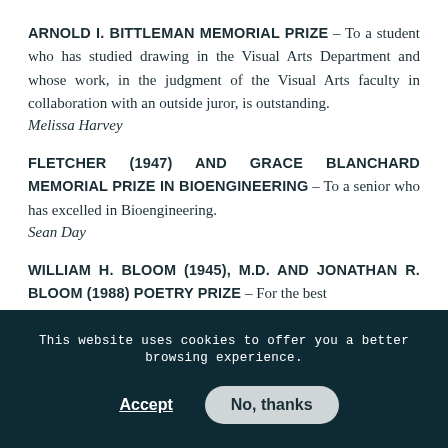ARNOLD I. BITTLEMAN MEMORIAL PRIZE – To a student who has studied drawing in the Visual Arts Department and whose work, in the judgment of the Visual Arts faculty in collaboration with an outside juror, is outstanding. Melissa Harvey
FLETCHER (1947) AND GRACE BLANCHARD MEMORIAL PRIZE IN BIOENGINEERING – To a senior who has excelled in Bioengineering. Sean Day
WILLIAM H. BLOOM (1945), M.D. AND JONATHAN R. BLOOM (1988) POETRY PRIZE – For the best
This website uses cookies to offer you a better browsing experience.
Accept
No, thanks